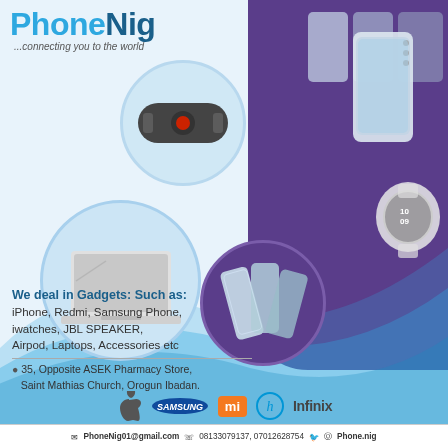PhoneNig
...connecting you to the world
[Figure (photo): Product collage showing JBL speaker, laptop, multiple smartphones, smartwatch, on light blue and purple background]
We deal in Gadgets: Such as: iPhone, Redmi, Samsung Phone, iwatches, JBL SPEAKER, Airpod, Laptops, Accessories etc
35, Opposite ASEK Pharmacy Store, Saint Mathias Church, Orogun Ibadan.
[Figure (logo): Brand logos: Apple, Samsung, Mi, HP, Infinix]
PhoneNig01@gmail.com  08133079137, 07012628754  Phone.nig